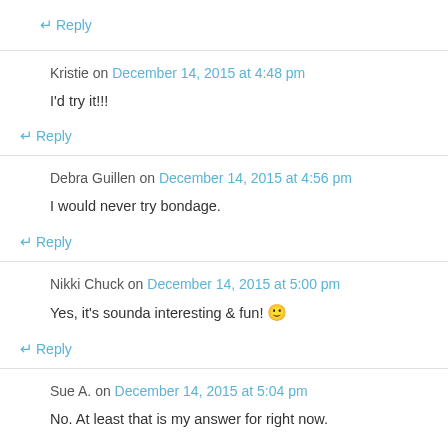↵ Reply
Kristie on December 14, 2015 at 4:48 pm
I'd try it!!!
↵ Reply
Debra Guillen on December 14, 2015 at 4:56 pm
I would never try bondage.
↵ Reply
Nikki Chuck on December 14, 2015 at 5:00 pm
Yes, it's sounda interesting & fun! 🙂
↵ Reply
Sue A. on December 14, 2015 at 5:04 pm
No. At least that is my answer for right now.